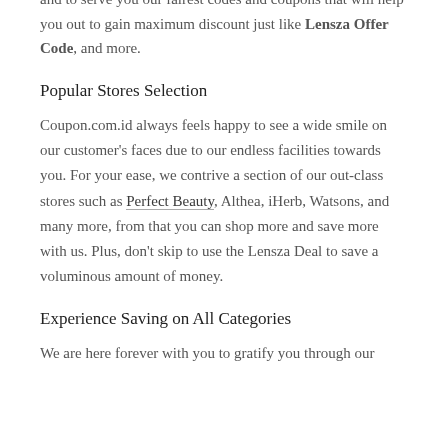make your online shopping experience happy and positive and to serve you our fairest codes and coupons that will help you out to gain maximum discount just like Lensza Offer Code, and more.
Popular Stores Selection
Coupon.com.id always feels happy to see a wide smile on our customer's faces due to our endless facilities towards you. For your ease, we contrive a section of our out-class stores such as Perfect Beauty, Althea, iHerb, Watsons, and many more, from that you can shop more and save more with us. Plus, don't skip to use the Lensza Deal to save a voluminous amount of money.
Experience Saving on All Categories
We are here forever with you to gratify you through our